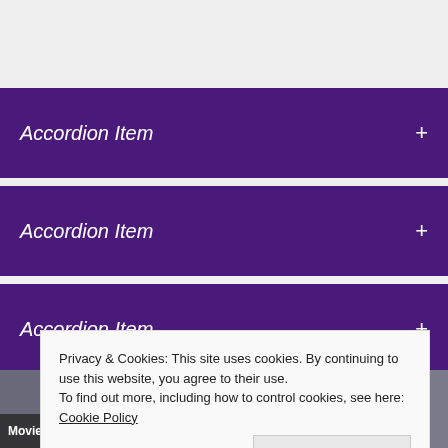Accordion Item +
Accordion Item +
Accordion Item +
You may have missed
Privacy & Cookies: This site uses cookies. By continuing to use this website, you agree to their use.
To find out more, including how to control cookies, see here: Cookie Policy
Close and accept
Movie and TV Reviews